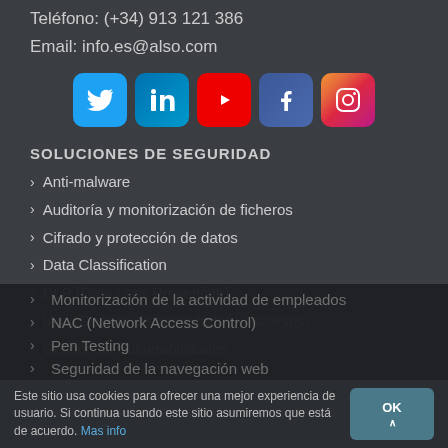Teléfono: (+34) 913 121 386
Email: info.es@also.com
[Figure (infographic): Social media icons row: Twitter, LinkedIn, YouTube, Facebook, Instagram]
SOLUCIONES DE SEGURIDAD
Anti-malware
Auditoría y monitorización de ficheros
Cifrado y protección de datos
Data Classification
DLP (Data Loss Prevention)
IAM (Gestión de Identidades y Accesos)
Gestión de vulnerabilidades
Monitorización de la actividad de empleados
NAC (Network Access Control)
Pen Testing
Seguridad de la navegación web
Este sitio usa cookies para ofrecer una mejor experiencia de usuario. Si continua usando este sitio asumiremos que está de acuerdo. Mas info